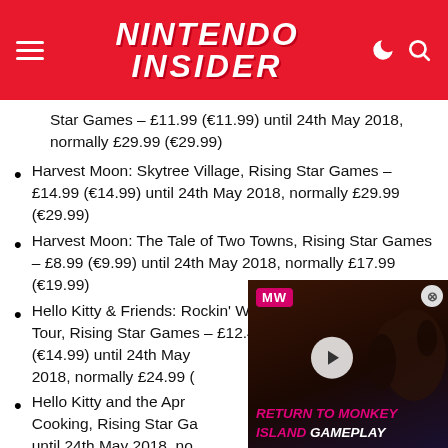Nintendo Insider
Star Games – £11.99 (€11.99) until 24th May 2018, normally £29.99 (€29.99)
Harvest Moon: Skytree Village, Rising Star Games – £14.99 (€14.99) until 24th May 2018, normally £29.99 (€29.99)
Harvest Moon: The Tale of Two Towns, Rising Star Games – £8.99 (€9.99) until 24th May 2018, normally £17.99 (€19.99)
Hello Kitty & Friends: Rockin' World Tour, Rising Star Games – £12.49 (€14.99) until 24th May 2018, normally £24.99 (€...)
Hello Kitty and the Apri... Cooking, Rising Star Ga... until 24th May 2018, no...
Hometown Story, Rising Star Games – £7.49 (€7.49) until 24th May 2018, normally £29.99 (€29.99)
[Figure (screenshot): Video advertisement overlay for 'Return to Monkey Island Gameplay' from MetaWave, featuring a dark background with a monkey silhouette, a play button, MW logo, and text 'RETURN TO MONKEY ISLAND GAMEPLAY' in pink and white italic bold text.]